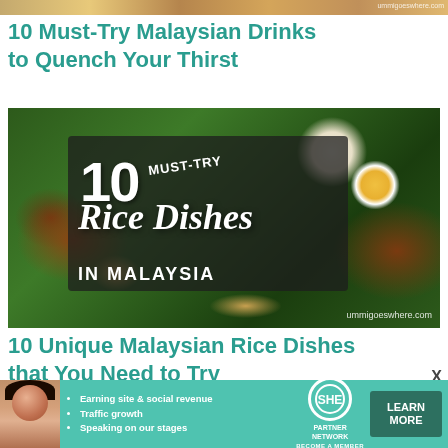[Figure (photo): Partial top strip of a food/drinks photo from a Malaysian travel blog, with watermark text partially visible]
10 Must-Try Malaysian Drinks to Quench Your Thirst
[Figure (photo): Food photo showing Malaysian nasi lemak with fried chicken, boiled egg, sambal, peanuts on a banana leaf, overlaid with text '10 MUST-TRY Rice Dishes in MALAYSIA' and watermark 'ummigoeswhere.com']
10 Unique Malaysian Rice Dishes that You Need to Try
[Figure (infographic): Advertisement banner for SHE Partner Network showing a woman, bullet points: Earning site & social revenue, Traffic growth, Speaking on our stages. With SHE logo and LEARN MORE button.]